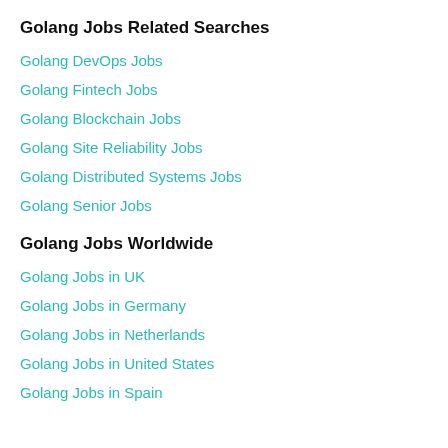Golang Jobs Related Searches
Golang DevOps Jobs
Golang Fintech Jobs
Golang Blockchain Jobs
Golang Site Reliability Jobs
Golang Distributed Systems Jobs
Golang Senior Jobs
Golang Jobs Worldwide
Golang Jobs in UK
Golang Jobs in Germany
Golang Jobs in Netherlands
Golang Jobs in United States
Golang Jobs in Spain